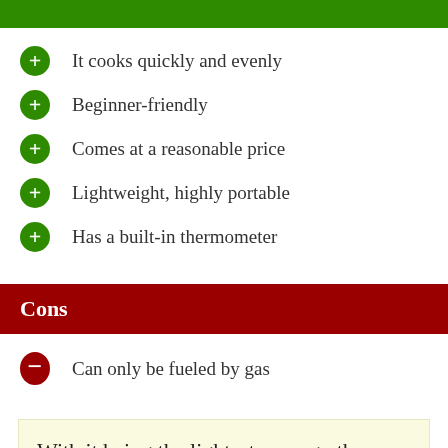It cooks quickly and evenly
Beginner-friendly
Comes at a reasonable price
Lightweight, highly portable
Has a built-in thermometer
Cons
Can only be fueled by gas
With it being the lightest among other competitors yet still being able to cook up a